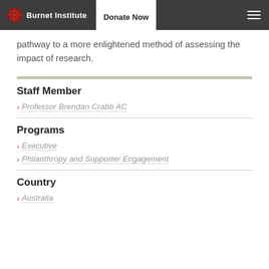Burnet Institute | Donate Now
pathway to a more enlightened method of assessing the impact of research.
Staff Member
Professor Brendan Crabb AC
Programs
Executive
Philanthropy and Supporter Engagement
Country
Australia